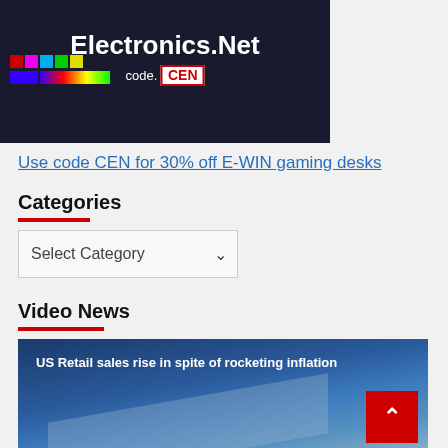[Figure (photo): Electronics.Net banner advertisement showing colorful LED light bars on a dark background with color swatches on the left and a CEN discount code badge]
Use code CEN for 30% off E-WIN gaming desks
Categories
Select Category
Video News
[Figure (screenshot): Video thumbnail showing 'US Retail sales rise in spite of rocketing inflation' with a blue sky background and a scroll-to-top button in the bottom right corner]